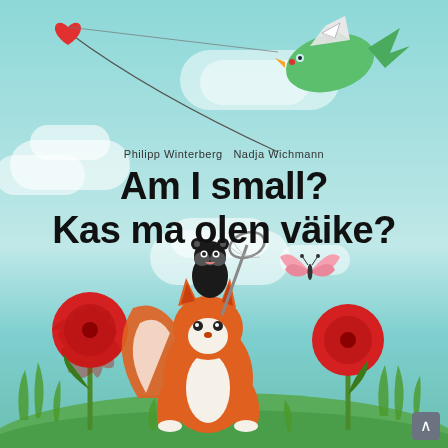[Figure (illustration): Book cover illustration featuring a light blue/teal sky background with white clouds, a green bird holding a red heart kite in the upper area, a fox holding a butterfly net with a small bear/raccoon on its head in the lower center, red poppy flowers at the bottom, a pink butterfly, and green grass ground.]
Philipp Winterberg  Nadja Wichmann
Am I small? Kas ma olen väike?